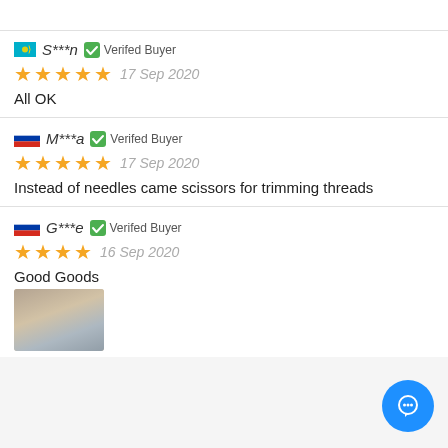S***n  Verified Buyer
★★★★★  17 Sep 2020
All OK
M***a  Verified Buyer
★★★★★  17 Sep 2020
Instead of needles came scissors for trimming threads
G***e  Verified Buyer
★★★★  16 Sep 2020
Good Goods